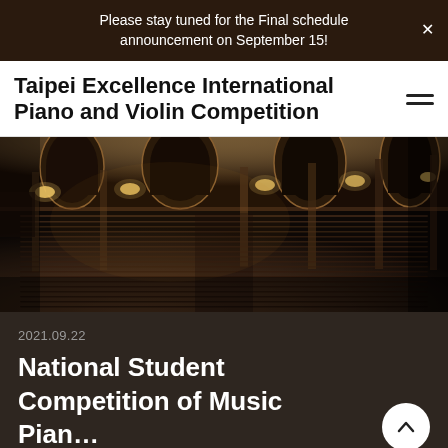Please stay tuned for the Final schedule announcement on September 15!
Taipei Excellence International Piano and Violin Competition
[Figure (photo): Interior of a large ornate concert hall viewed from above, showing rows of empty seats, chandeliers and wall sconces, with classical architectural columns and arches.]
2021.09.22
National Student Competition of Music Pian…